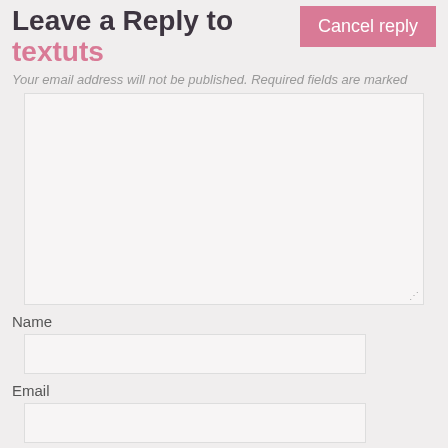Leave a Reply to textuts
Cancel reply
Your email address will not be published. Required fields are marked
[Figure (screenshot): Empty comment text area input box]
Name
[Figure (screenshot): Empty name input field]
Email
[Figure (screenshot): Empty email input field]